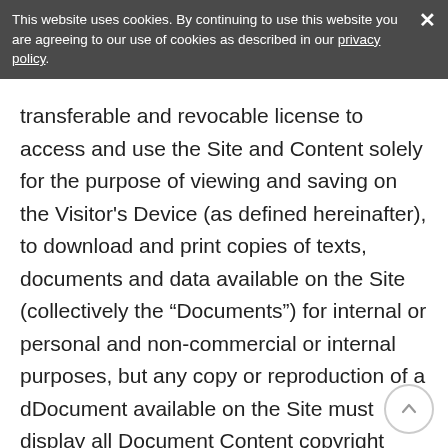This website uses cookies. By continuing to use this website you are agreeing to our use of cookies as described in our privacy policy.
transferable and revocable license to access and use the Site and Content solely for the purpose of viewing and saving on the Visitor's Device (as defined hereinafter), to download and print copies of texts, documents and data available on the Site (collectively the “Documents”) for internal or personal and non-commercial or internal purposes, but any copy or reproduction of a dDocument available on the Site must display all Document Content copyright notices or other proprietary notices and the Visitor may not modify the Document Content in any way. Any other use of the Site or Content is strictly